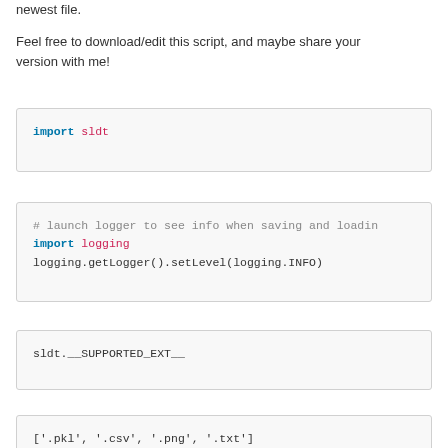newest file.
Feel free to download/edit this script, and maybe share your version with me!
import sldt
# launch logger to see info when saving and loadin
import logging
logging.getLogger().setLevel(logging.INFO)
sldt.__SUPPORTED_EXT__
['.pkl', '.csv', '.png', '.txt']